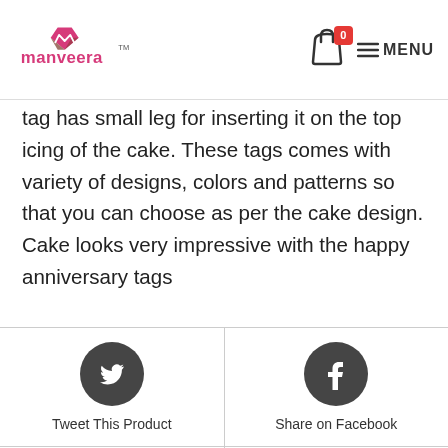[Figure (logo): Manveera logo with pink and brown diamond shape and pink brand name text, with TM mark]
tag has small leg for inserting it on the top icing of the cake. These tags comes with variety of designs, colors and patterns so that you can choose as per the cake design. Cake looks very impressive with the happy anniversary tags
[Figure (infographic): Social sharing buttons grid: Twitter (Tweet This Product), Facebook (Share on Facebook), Pinterest (Pin This Product), Mail (Mail This Product)]